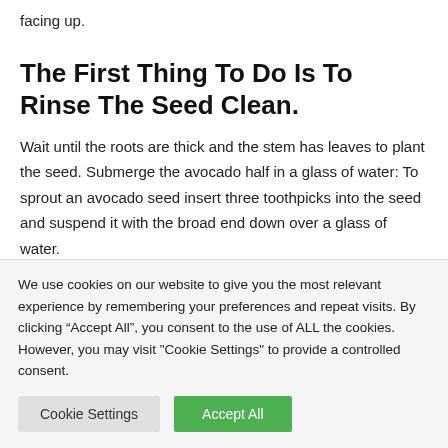facing up.
The First Thing To Do Is To Rinse The Seed Clean.
Wait until the roots are thick and the stem has leaves to plant the seed. Submerge the avocado half in a glass of water: To sprout an avocado seed insert three toothpicks into the seed and suspend it with the broad end down over a glass of water.
We use cookies on our website to give you the most relevant experience by remembering your preferences and repeat visits. By clicking “Accept All”, you consent to the use of ALL the cookies. However, you may visit "Cookie Settings" to provide a controlled consent.